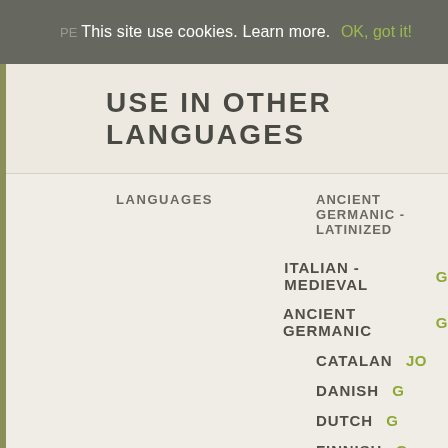This site use cookies. Learn more. OK, got it!
USE IN OTHER LANGUAGES
LANGUAGES    ANCIENT GERMANIC - LATINIZED
ITALIAN - MEDIEVAL
ANCIENT GERMANIC
CATALAN
DANISH
DUTCH
FINNISH
FRENCH
GERMAN
GREENLANDIC
ICELANDIC
IRISH